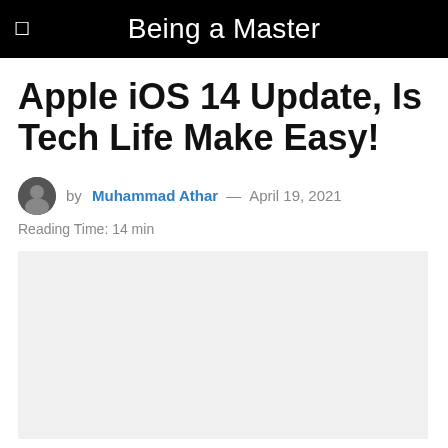Being a Master
Apple iOS 14 Update, Is Tech Life Make Easy!
by Muhammad Athar — April 19, 2021
Reading Time: 14 min
[Figure (photo): Large light gray featured image placeholder]